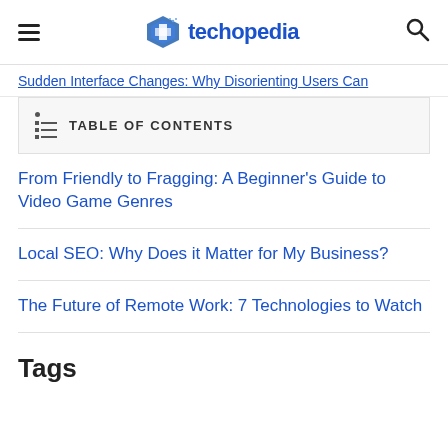techopedia
Sudden Interface Changes: Why Disorienting Users Can
TABLE OF CONTENTS
From Friendly to Fragging: A Beginner's Guide to Video Game Genres
Local SEO: Why Does it Matter for My Business?
The Future of Remote Work: 7 Technologies to Watch
Tags